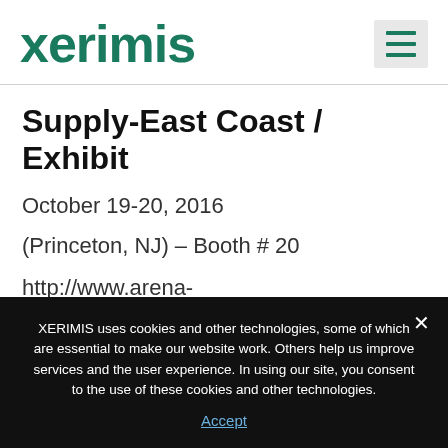[Figure (logo): Xerimis company logo in dark teal/green bold text]
Supply-East Coast / Exhibit
October 19-20, 2016
(Princeton, NJ) – Booth # 20
http://www.arena-international.com/ctseastcoast
XERIMIS uses cookies and other technologies, some of which are essential to make our website work. Others help us improve services and the user experience. In using our site, you consent to the use of these cookies and other technologies.
Accept